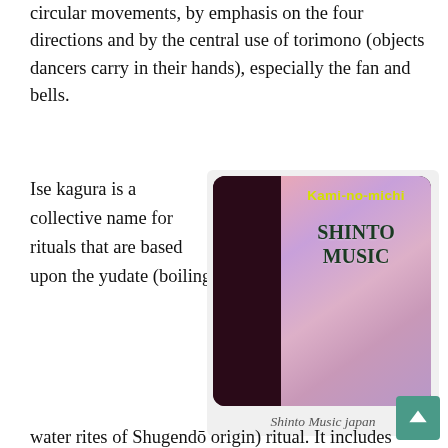circular movements, by emphasis on the four directions and by the central use of torimono (objects dancers carry in their hands), especially the fan and bells.
Ise kagura is a collective name for rituals that are based upon the yudate (boiling water rites of Shugendō origin) ritual. It includes miko dances as well as dancing of the torimono type. The kami are believed to be present in the pot of boiling water, so the dancers dip their torimono in the water and sprinkle it in the four directions and on the observers for
[Figure (illustration): Album cover for Shinto Music japan featuring the text 'Kami-no-michi' in yellow on a dark background with 'SHINTO MUSIC' in large dark green letters overlaid on a soft pink/purple spiritual illustration background.]
Shinto Music japan